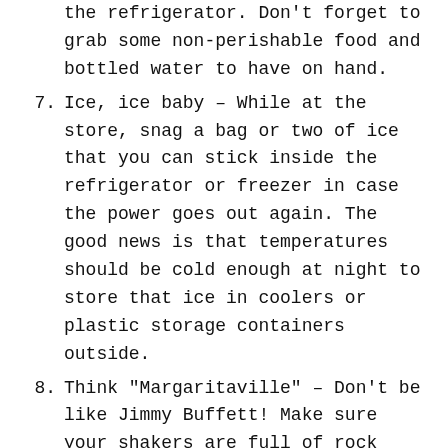the refrigerator. Don't forget to grab some non-perishable food and bottled water to have on hand.
7. Ice, ice baby – While at the store, snag a bag or two of ice that you can stick inside the refrigerator or freezer in case the power goes out again. The good news is that temperatures should be cold enough at night to store that ice in coolers or plastic storage containers outside.
8. Think "Margaritaville" – Don't be like Jimmy Buffett! Make sure your shakers are full of rock salt, ice melt, or whatever your preferred method is to prevent and remove slippery surfaces. Cat litter can also work in a pinch ... just not in your margarita. Yuck!
9. Hire some help – If you know someone in the neighborhood who has access to a teenager or young adult, get a hold of them today and ask